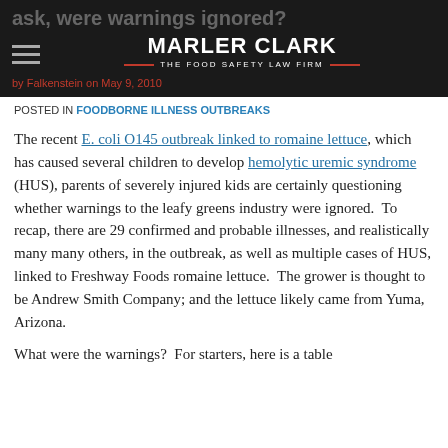ask, were warnings ignored? | MARLER CLARK THE FOOD SAFETY LAW FIRM
by [author] on May [date]
POSTED IN FOODBORNE ILLNESS OUTBREAKS
The recent E. coli O145 outbreak linked to romaine lettuce, which has caused several children to develop hemolytic uremic syndrome (HUS), parents of severely injured kids are certainly questioning whether warnings to the leafy greens industry were ignored. To recap, there are 29 confirmed and probable illnesses, and realistically many many others, in the outbreak, as well as multiple cases of HUS, linked to Freshway Foods romaine lettuce. The grower is thought to be Andrew Smith Company; and the lettuce likely came from Yuma, Arizona.
What were the warnings? For starters, here is a table